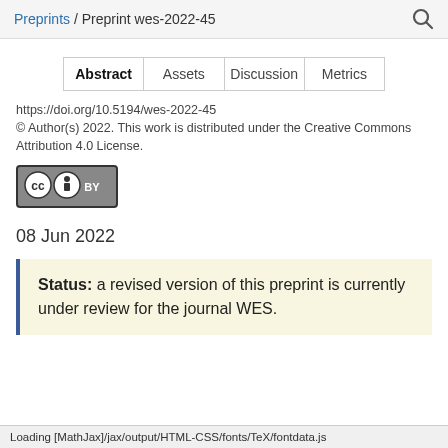Preprints / Preprint wes-2022-45
| Abstract | Assets | Discussion | Metrics |
| --- | --- | --- | --- |
https://doi.org/10.5194/wes-2022-45
© Author(s) 2022. This work is distributed under the Creative Commons Attribution 4.0 License.
[Figure (logo): Creative Commons BY license badge]
08 Jun 2022
Status: a revised version of this preprint is currently under review for the journal WES.
Loading [MathJax]/jax/output/HTML-CSS/fonts/TeX/fontdata.js